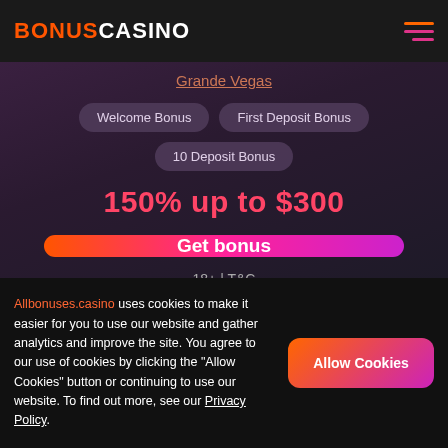BONUSCASINO
Grande Vegas
Welcome Bonus
First Deposit Bonus
10 Deposit Bonus
150% up to $300
Get bonus
18+ | T&C
Minimum deposit: $5
Allbonuses.casino uses cookies to make it easier for you to use our website and gather analytics and improve the site. You agree to our use of cookies by clicking the "Allow Cookies" button or continuing to use our website. To find out more, see our Privacy Policy.
Allow Cookies